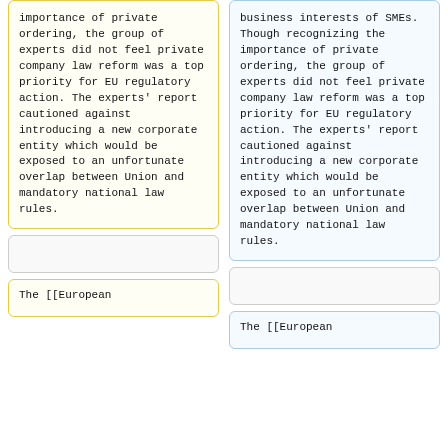importance of private ordering, the group of experts did not feel private company law reform was a top priority for EU regulatory action. The experts' report cautioned against introducing a new corporate entity which would be exposed to an unfortunate overlap between Union and mandatory national law rules.
business interests of SMEs. Though recognizing the importance of private ordering, the group of experts did not feel private company law reform was a top priority for EU regulatory action. The experts' report cautioned against introducing a new corporate entity which would be exposed to an unfortunate overlap between Union and mandatory national law rules.
The [[European
The [[European